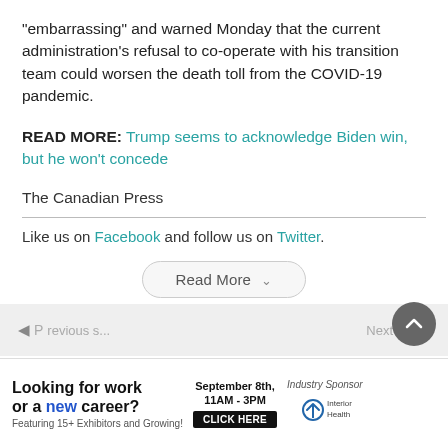“embarrassing” and warned Monday that the current administration’s refusal to co-operate with his transition team could worsen the death toll from the COVID-19 pandemic.
READ MORE: Trump seems to acknowledge Biden win, but he won’t concede
The Canadian Press
Like us on Facebook and follow us on Twitter.
Read More
Looking for work or a new career? Featuring 15+ Exhibitors and Growing! September 8th, 11AM - 3PM CLICK HERE Industry Sponsor Interior Health